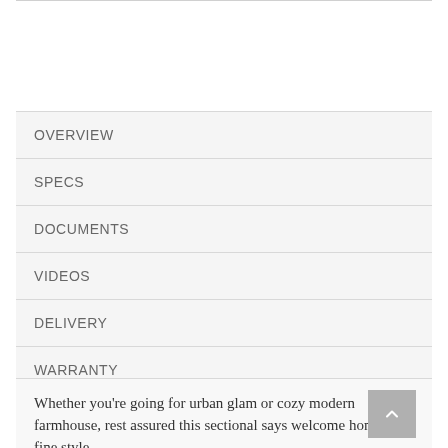OVERVIEW
SPECS
DOCUMENTS
VIDEOS
DELIVERY
WARRANTY
Whether you're going for urban glam or cozy modern farmhouse, rest assured this sectional says welcome home in fine style